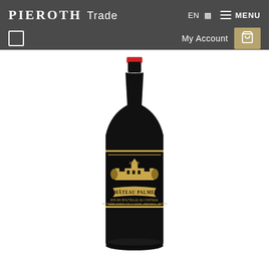PIEROTH Trade — EN | MENU — My Account — cart
[Figure (photo): A dark wine bottle with a gold and black label showing Château Palmer. The bottle has a red wax capsule top and the label features an ornate gold illustration of a chateau with the text CHÂTEAU PALMER.]